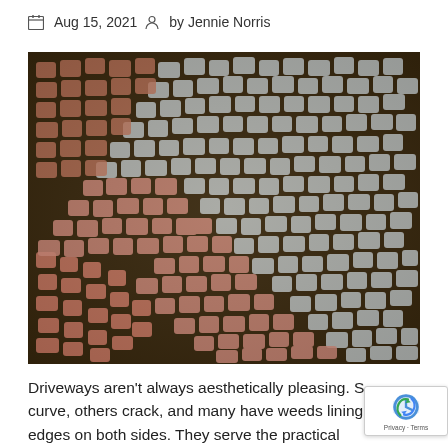Aug 15, 2021  by Jennie Norris
[Figure (photo): Close-up photograph of a decorative cobblestone pavement with alternating pink/red and grey stones arranged in a curved fan pattern with dark grout between them.]
Driveways aren't always aesthetically pleasing. S curve, others crack, and many have weeds lining edges on both sides. They serve the practical purpose